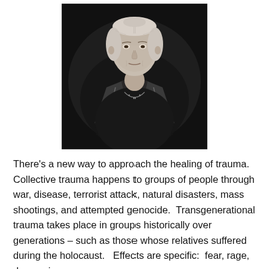[Figure (photo): Black and white portrait photograph of an elderly woman with white hair pulled back, wearing a dark dress with a wide collar and a necklace, seated and looking directly at the camera.]
There's a new way to approach the healing of trauma. Collective trauma happens to groups of people through war, disease, terrorist attack, natural disasters, mass shootings, and attempted genocide.  Transgenerational trauma takes place in groups historically over generations – such as those whose relatives suffered during the holocaust.   Effects are specific:  fear, rage, depression,